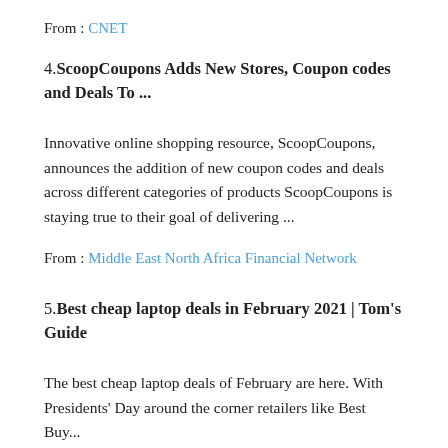From : CNET
4.ScoopCoupons Adds New Stores, Coupon codes and Deals To ...
Innovative online shopping resource, ScoopCoupons, announces the addition of new coupon codes and deals across different categories of products ScoopCoupons is staying true to their goal of delivering ...
From : Middle East North Africa Financial Network
5.Best cheap laptop deals in February 2021 | Tom's Guide
The best cheap laptop deals of February are here. With Presidents' Day around the corner retailers like Best Buy...